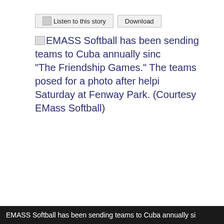[Figure (other): UI buttons: 'Listen to this story' and 'Download']
EMASS Softball has been sending teams to Cuba annually since “The Friendship Games.” The teams posed for a photo after helpi Saturday at Fenway Park. (Courtesy EMass Softball)
EMASS Softball has been sending teams to Cuba annually si